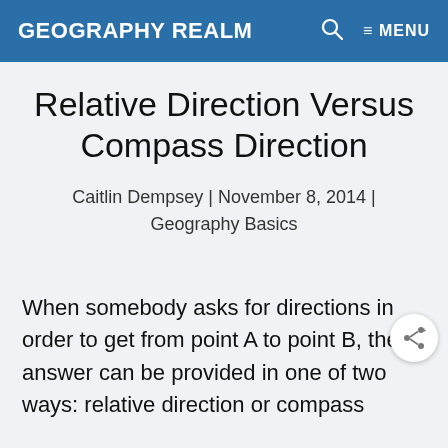GEOGRAPHY REALM   🔍   ≡ MENU
Relative Direction Versus Compass Direction
Caitlin Dempsey | November 8, 2014 | Geography Basics
When somebody asks for directions in order to get from point A to point B, the answer can be provided in one of two ways: relative direction or compass